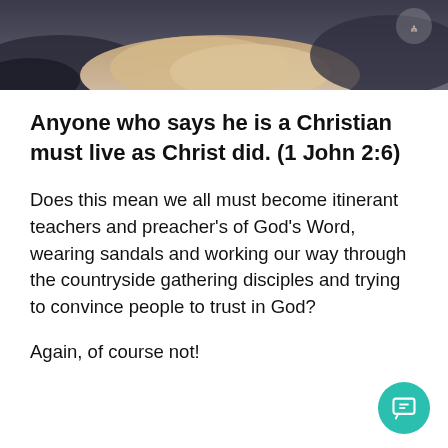[Figure (photo): Dark cloudy sky with lighter cloud formation visible at bottom, small logo in top right corner]
Anyone who says he is a Christian must live as Christ did. (1 John 2:6)
Does this mean we all must become itinerant teachers and preacher's of God's Word, wearing sandals and working our way through the countryside gathering disciples and trying to convince people to trust in God?
Again, of course not!